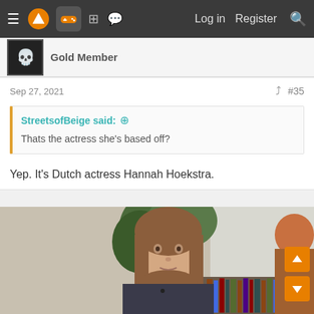Navigation bar with menu, logo, controller icon, grid, chat, Log in, Register, Search
Gold Member
Sep 27, 2021  #35
StreetsofBeige said: ↑
Thats the actress she's based off?
Yep. It's Dutch actress Hannah Hoekstra.
[Figure (photo): Photo of a young woman with long brown hair, sitting in front of a bookshelf and a plant near a window, another person visible on the right edge.]